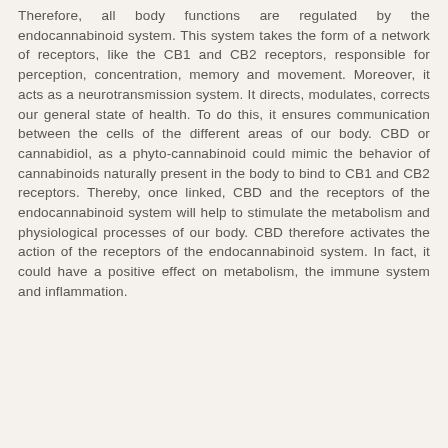Therefore, all body functions are regulated by the endocannabinoid system. This system takes the form of a network of receptors, like the CB1 and CB2 receptors, responsible for perception, concentration, memory and movement. Moreover, it acts as a neurotransmission system. It directs, modulates, corrects our general state of health. To do this, it ensures communication between the cells of the different areas of our body. CBD or cannabidiol, as a phyto-cannabinoid could mimic the behavior of cannabinoids naturally present in the body to bind to CB1 and CB2 receptors. Thereby, once linked, CBD and the receptors of the endocannabinoid system will help to stimulate the metabolism and physiological processes of our body. CBD therefore activates the action of the receptors of the endocannabinoid system. In fact, it could have a positive effect on metabolism, the immune system and inflammation.